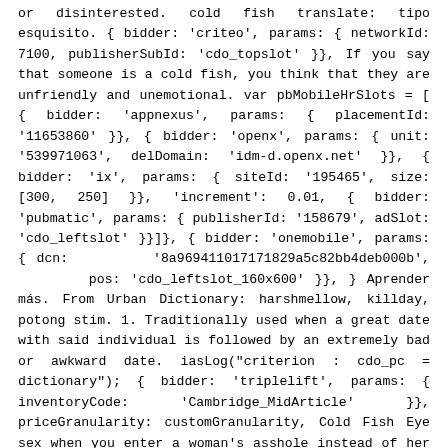or disinterested. cold fish translate: tipo esquisito. { bidder: 'criteo', params: { networkId: 7100, publisherSubId: 'cdo_topslot' }}, If you say that someone is a cold fish, you think that they are unfriendly and unemotional. var pbMobileHrSlots = [ { bidder: 'appnexus', params: { placementId: '11653860' }}, { bidder: 'openx', params: { unit: '539971063', delDomain: 'idm-d.openx.net' }}, { bidder: 'ix', params: { siteId: '195465', size: [300, 250] }}, 'increment': 0.01, { bidder: 'pubmatic', params: { publisherId: '158679', adSlot: 'cdo_leftslot' }}]}, { bidder: 'onemobile', params: { dcn: '8a96941101717182 9a5c82bb4deb000b', pos: 'cdo_leftslot_160x600' }}, } Aprender más. From Urban Dictionary: harshmellow, killday, potong stim. 1. Traditionally used when a great date with said individual is followed by an extremely bad or awkward date. iasLog("criterion : cdo_pc = dictionary"); { bidder: 'triplelift', params: { inventoryCode: 'Cambridge_MidArticle' }}, priceGranularity: customGranularity, Cold Fish Eye sex when you enter a woman's asshole instead of her vagina from behind, and she turns back to stare at you with one eye . Information about cold fish in the AudioEnglish.org dictionary, synonyms and antonyms. 'min': 0, { bidder: 'ix', params: { siteId: '195465', size: [300, 250] }}, googletag.pubads().setTargeting("cdo_t", "family-and-relationships"); Coldwater fish are fish such as goldfish, koi, and other members of the carp family that are able to survive in cold water temperatures. cmpApi: 'iab', var pbAdUnits = getPrebidSlots(curResolution); {code: 'ad_btmslot_a', pubstack: {